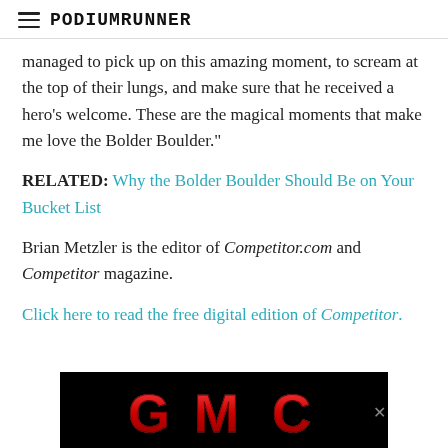PodiumRunner
managed to pick up on this amazing moment, to scream at the top of their lungs, and make sure that he received a hero’s welcome. These are the magical moments that make me love the Bolder Boulder.”
RELATED: Why the Bolder Boulder Should Be on Your Bucket List
Brian Metzler is the editor of Competitor.com and Competitor magazine.
Click here to read the free digital edition of Competitor.
[Figure (logo): GMC advertisement banner with red GMC logo on black background]